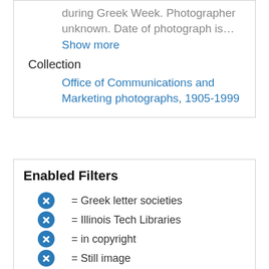during Greek Week. Photographer unknown. Date of photograph is…
Show more
Collection
Office of Communications and Marketing photographs, 1905-1999
Enabled Filters
= Greek letter societies
= Illinois Tech Libraries
= in copyright
= Still image
= Student activities